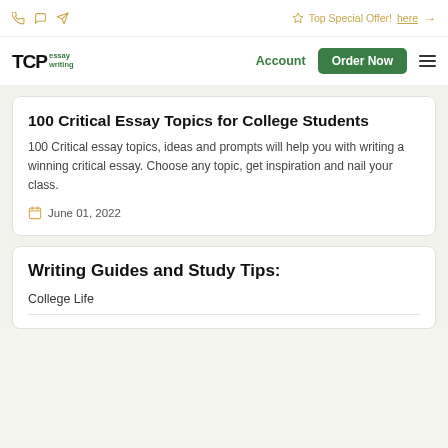Top Special Offer! here →
TCPessay writing — Account | Order Now
100 Critical Essay Topics for College Students
100 Critical essay topics, ideas and prompts will help you with writing a winning critical essay. Choose any topic, get inspiration and nail your class.
June 01, 2022
Writing Guides and Study Tips:
College Life